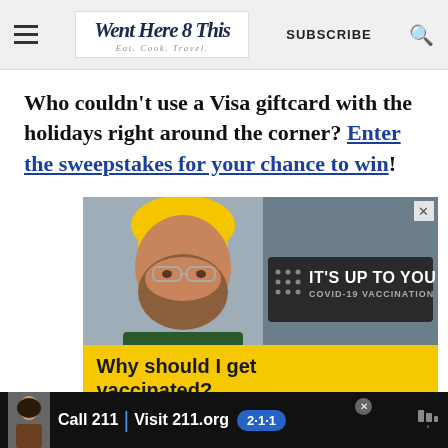Went Here 8 This — Eat. Cook. Travel. | SUBSCRIBE
Who couldn't use a Visa giftcard with the holidays right around the corner? Enter the sweepstakes for your chance to win!
[Figure (photo): Advertisement showing a bearded man wearing a yellow hard hat and safety goggles in an industrial setting, with text overlay 'IT'S UP TO YOU COVID-19 VACCINATION' and yellow banner below reading 'Why should I get vaccinated?']
[Figure (infographic): Bottom banner advertisement: person photo on left, text 'Call 211 | Visit 211.org' with blue 211 badge logo, close button, weather icon on right]